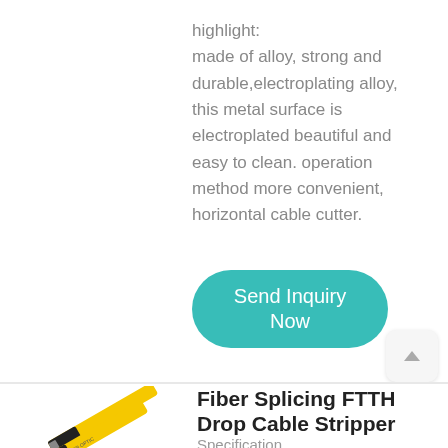highlight:
made of alloy, strong and durable,electroplating alloy, this metal surface is electroplated beautiful and easy to clean. operation method more convenient, horizontal cable cutter.
[Figure (other): Teal rounded rectangle button with white text reading 'Send Inquiry Now']
[Figure (other): Gray scroll-to-top button with upward triangle arrow]
[Figure (photo): Yellow and black fiber optic cable stripper tool, two pieces shown at an angle]
Fiber Splicing FTTH Drop Cable Stripper
Specification